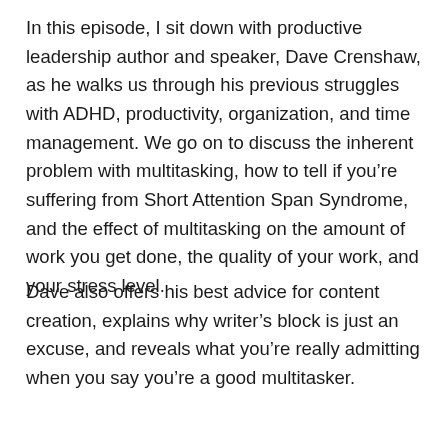In this episode, I sit down with productive leadership author and speaker, Dave Crenshaw, as he walks us through his previous struggles with ADHD, productivity, organization, and time management. We go on to discuss the inherent problem with multitasking, how to tell if you're suffering from Short Attention Span Syndrome, and the effect of multitasking on the amount of work you get done, the quality of your work, and your stress level.
Dave also offers his best advice for content creation, explains why writer's block is just an excuse, and reveals what you're really admitting when you say you're a good multitasker.